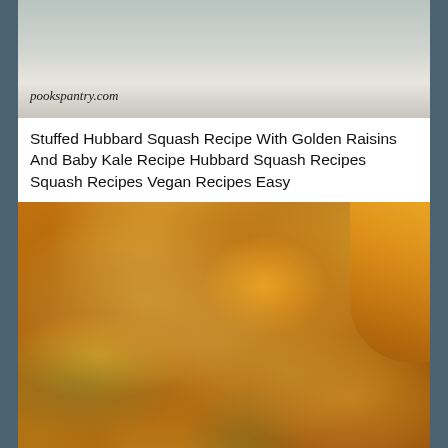[Figure (photo): Top portion of a dish on a plate, partially visible, with text watermark 'pookspantry.com' in the lower left]
Stuffed Hubbard Squash Recipe With Golden Raisins And Baby Kale Recipe Hubbard Squash Recipes Squash Recipes Vegan Recipes Easy
[Figure (photo): Close-up photo of stuffed Hubbard squash with cornbread stuffing, sage leaves, diced apples and raisins, with the orange squash edge visible in the upper right]